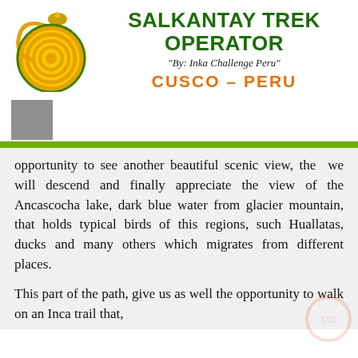[Figure (logo): Salkantay Trek Operator spiral logo in yellow, orange, and green with a small mushroom shape at top]
SALKANTAY TREK OPERATOR
"By: Inka Challenge Peru"
CUSCO – PERU
opportunity to see another beautiful scenic view, the we will descend and finally appreciate the view of the Ancascocha lake, dark blue water from glacier mountain, that holds typical birds of this regions, such Huallatas, ducks and many others which migrates from different places.
This part of the path, give us as well the opportunity to walk on an Inca trail that,